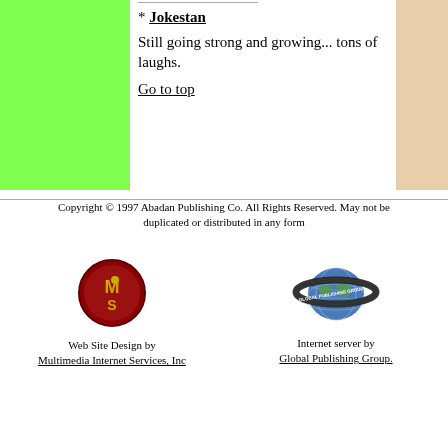* Jokestan
Still going strong and growing... tons of laughs.
Go to top
Copyright © 1997 Abadan Publishing Co. All Rights Reserved. May not be duplicated or distributed in any form
[Figure (logo): MS logo - red circle with MS letters in gold]
Web Site Design by Multimedia Internet Services, Inc
[Figure (logo): Global Publishing Group logo - globe with Saturn-like ring]
Internet server by Global Publishing Group.